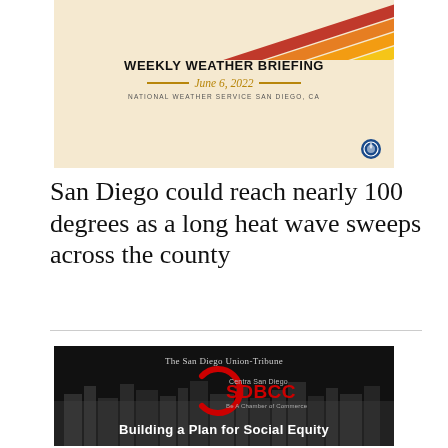[Figure (other): Weekly Weather Briefing slide from National Weather Service San Diego, CA dated June 6, 2022, with diagonal colored stripes in red, orange, and yellow on a cream background with NOAA logo]
San Diego could reach nearly 100 degrees as a long heat wave sweeps across the county
[Figure (other): SDBCC (Centra San Diego Black Chamber of Commerce) logo with text 'The San Diego Union-Tribune' above and 'Building a Plan for Social Equity' below, on a dark background with city skyline silhouette]